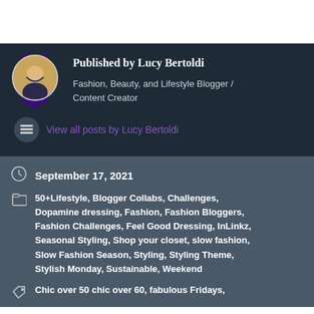[Figure (photo): White banner/header area at the top of the page]
Published by Lucy Bertoldi
Fashion, Beauty, and Lifestyle Blogger / Content Creator
View all posts by Lucy Bertoldi
September 17, 2021
50+Lifestyle, Blogger Collabs, Challenges, Dopamine dressing, Fashion, Fashion Bloggers, Fashion Challenges, Feel Good Dressing, InLinkz, Seasonal Styling, Shop your closet, slow fashion, Slow Fashion Season, Styling, Styling Theme, Stylish Monday, Sustainable, Weekend
Chic over 50 chic over 60, fabulous Fridays,